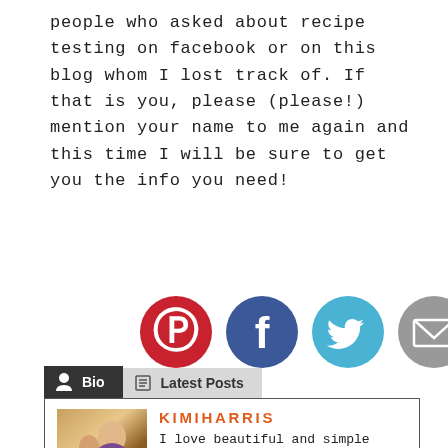people who asked about recipe testing on facebook or on this blog whom I lost track of. If that is you, please (please!) mention your name to me again and this time I will be sure to get you the info you need!
[Figure (other): Pin it button with red border and italic script text]
[Figure (other): Social media share icons: Pinterest (red circle with P), Facebook (dark blue circle with f), Twitter (light blue circle with bird), Email (gray circle with envelope)]
[Figure (other): Bio and Latest Posts tabs section with photo of Kimi Harris and bio text reading: KIMI HARRIS - I love beautiful and simple food that is nourishing to the body and the soul. I wrote Fresh: Nourishing Salads for All Seasons and Ladled: Nourishing Soups for All Seasons as]